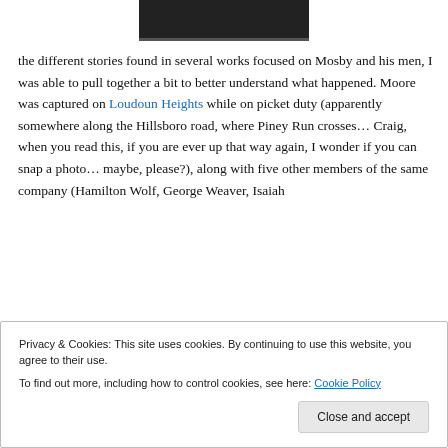[Figure (photo): Partial image of a book or document cover at the top of the page, dark/black toned]
the different stories found in several works focused on Mosby and his men, I was able to pull together a bit to better understand what happened. Moore was captured on Loudoun Heights while on picket duty (apparently somewhere along the Hillsboro road, where Piney Run crosses… Craig, when you read this, if you are ever up that way again, I wonder if you can snap a photo… maybe, please?), along with five other members of the same company (Hamilton Wolf, George Weaver, Isaiah
Privacy & Cookies: This site uses cookies. By continuing to use this website, you agree to their use.
To find out more, including how to control cookies, see here: Cookie Policy
Close and accept